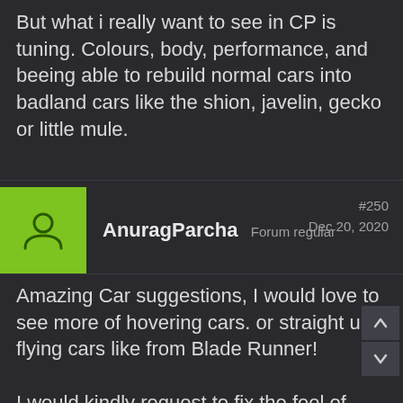But what i really want to see in CP is tuning. Colours, body, performance, and beeing able to rebuild normal cars into badland cars like the shion, javelin, gecko or little mule.
AnuragParcha  Forum regular  #250  Dec 20, 2020
Amazing Car suggestions, I would love to see more of hovering cars. or straight up flying cars like from Blade Runner!

I would kindly request to fix the feel of driving in the game before adding cars. I love the game, but the cars right now have no gravity, no heaviness to them, they just skid everywhere. Please fix